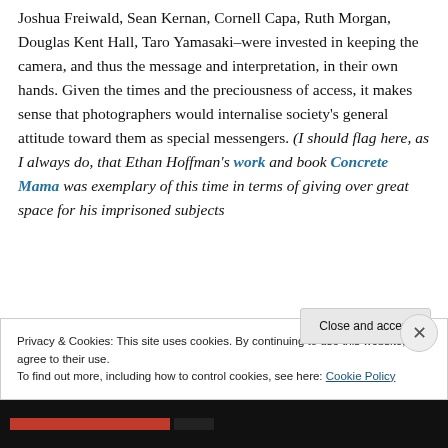Joshua Freiwald, Sean Kernan, Cornell Capa, Ruth Morgan, Douglas Kent Hall, Taro Yamasaki–were invested in keeping the camera, and thus the message and interpretation, in their own hands. Given the times and the preciousness of access, it makes sense that photographers would internalise society's general attitude toward them as special messengers. (I should flag here, as I always do, that Ethan Hoffman's work and book Concrete Mama was exemplary of this time in terms of giving over great space for his imprisoned subjects
Privacy & Cookies: This site uses cookies. By continuing to use this website, you agree to their use. To find out more, including how to control cookies, see here: Cookie Policy
Close and accept